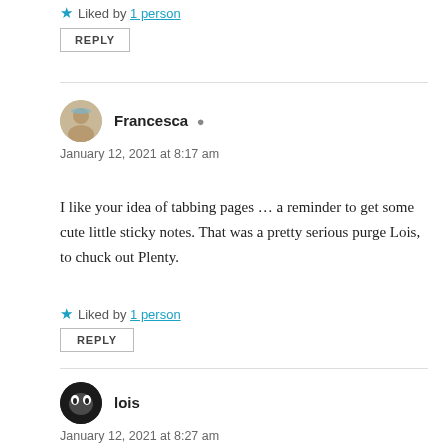Liked by 1 person
REPLY
Francesca
January 12, 2021 at 8:17 am
I like your idea of tabbing pages … a reminder to get some cute little sticky notes. That was a pretty serious purge Lois, to chuck out Plenty.
Liked by 1 person
REPLY
lois
January 12, 2021 at 8:27 am